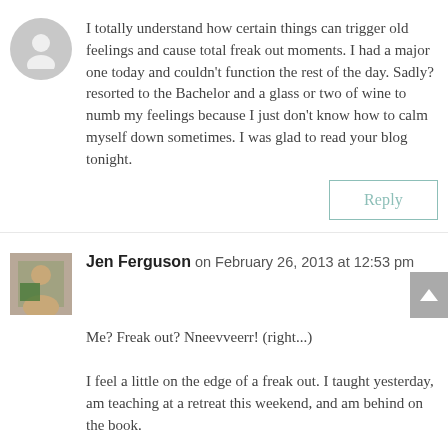I totally understand how certain things can trigger old feelings and cause total freak out moments. I had a major one today and couldn't function the rest of the day. Sadly? resorted to the Bachelor and a glass or two of wine to numb my feelings because I just don't know how to calm myself down sometimes. I was glad to read your blog tonight.
Reply
Jen Ferguson on February 26, 2013 at 12:53 pm
Me? Freak out? Nneevveerr! (right...)
I feel a little on the edge of a freak out. I taught yesterday, am teaching at a retreat this weekend, and am behind on the book.